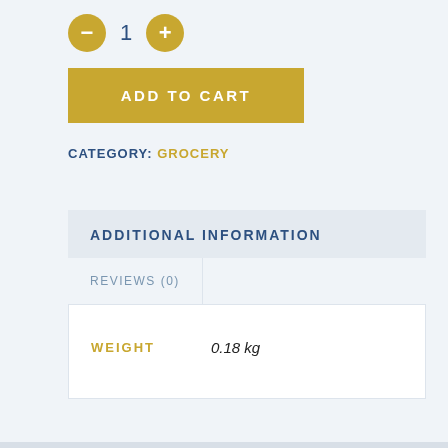- 1 +
ADD TO CART
CATEGORY: GROCERY
ADDITIONAL INFORMATION
REVIEWS (0)
| WEIGHT |  |
| --- | --- |
| WEIGHT | 0.18 kg |